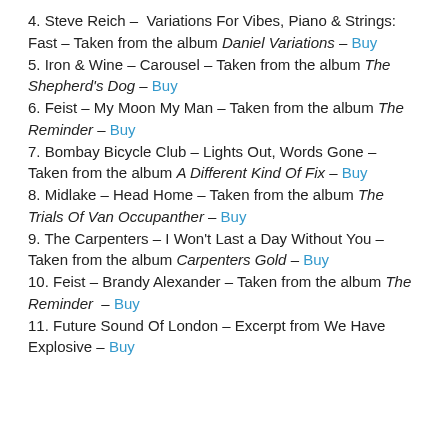4. Steve Reich – Variations For Vibes, Piano & Strings: Fast – Taken from the album Daniel Variations – Buy
5. Iron & Wine – Carousel – Taken from the album The Shepherd's Dog – Buy
6. Feist – My Moon My Man – Taken from the album The Reminder – Buy
7. Bombay Bicycle Club – Lights Out, Words Gone – Taken from the album A Different Kind Of Fix – Buy
8. Midlake – Head Home – Taken from the album The Trials Of Van Occupanther – Buy
9. The Carpenters – I Won't Last a Day Without You – Taken from the album Carpenters Gold – Buy
10. Feist – Brandy Alexander – Taken from the album The Reminder – Buy
11. Future Sound Of London – Excerpt from We Have Explosive – Buy